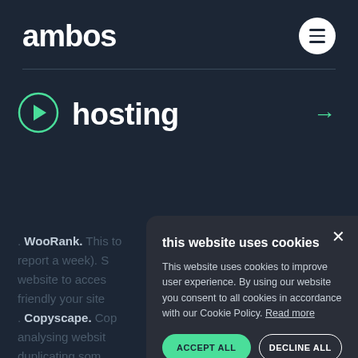ambos
[Figure (screenshot): Menu hamburger icon in white circle]
hosting
. WooRank. This to report a week). S website to acces friendly your site . Copyscape. Cop analysing websit duplicating som content is terrible for SEO, so this plagiarism
this website uses cookies
This website uses cookies to improve user experience. By using our website you consent to all cookies in accordance with our Cookie Policy. Read more
ACCEPT ALL
DECLINE ALL